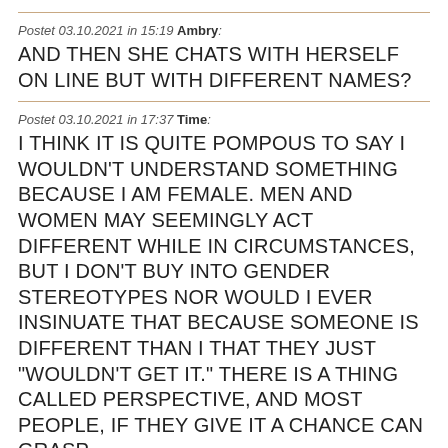Postet 03.10.2021 in 15:19 Ambry: AND THEN SHE CHATS WITH HERSELF ON LINE BUT WITH DIFFERENT NAMES?
Postet 03.10.2021 in 17:37 Time: I THINK IT IS QUITE POMPOUS TO SAY I WOULDN'T UNDERSTAND SOMETHING BECAUSE I AM FEMALE. MEN AND WOMEN MAY SEEMINGLY ACT DIFFERENT WHILE IN CIRCUMSTANCES, BUT I DON'T BUY INTO GENDER STEREOTYPES NOR WOULD I EVER INSINUATE THAT BECAUSE SOMEONE IS DIFFERENT THAN I THAT THEY JUST "WOULDN'T GET IT." THERE IS A THING CALLED PERSPECTIVE, AND MOST PEOPLE, IF THEY GIVE IT A CHANCE CAN GRASP